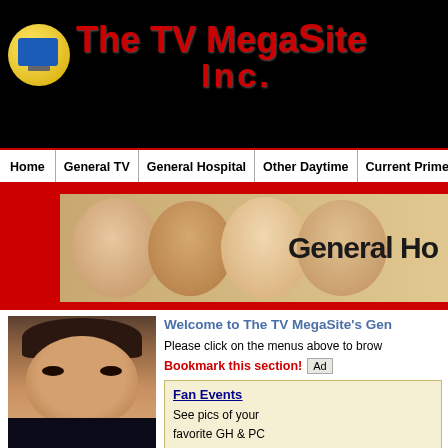[Figure (logo): The TV MegaSite Inc. logo with yellow circle containing a TV icon and red bold text]
Home | General TV | General Hospital | Other Daytime | Current Primetime S
[Figure (illustration): General Hospital banner with faces of cast members and text 'General Ho']
[Figure (photo): Photo of a male actor with dark hair]
Welcome to The TV MegaSite's Gen
Please click on the menus above to brow
Bookmark this section!
Ad
Fan Events
See pics of your favorite GH & PC